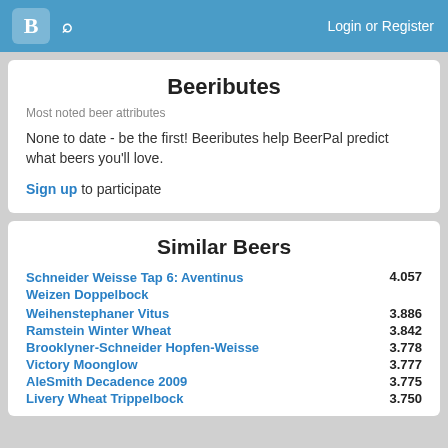B [logo] [search icon]  Login or Register
Beeributes
Most noted beer attributes
None to date - be the first! Beeributes help BeerPal predict what beers you'll love.
Sign up to participate
Similar Beers
Schneider Weisse Tap 6: Aventinus Weizen Doppelbock  4.057
Weihenstephaner Vitus  3.886
Ramstein Winter Wheat  3.842
Brooklyner-Schneider Hopfen-Weisse  3.778
Victory Moonglow  3.777
AleSmith Decadence 2009  3.775
Livery Wheat Trippelbock  3.750